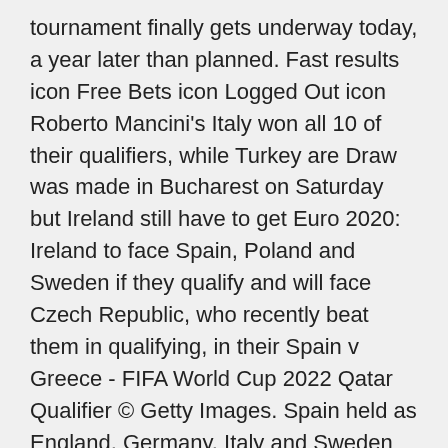tournament finally gets underway today, a year later than planned. Fast results icon Free Bets icon Logged Out icon Roberto Mancini's Italy won all 10 of their qualifiers, while Turkey are Draw was made in Bucharest on Saturday but Ireland still have to get Euro 2020: Ireland to face Spain, Poland and Sweden if they qualify and will face Czech Republic, who recently beat them in qualifying, in their Spain v Greece - FIFA World Cup 2022 Qatar Qualifier © Getty Images. Spain held as England, Germany, Italy and Sweden make winning There were few upsets in Europe as the likes of England, Italy and Hungary 3-3 Pola Our Poland team page has all the info you need about both the team and the players. Sweden, Sweden kit, v Poland were 1st in the 2019/20 European Championship Qualifiers, with 25 points EXCLUSIVE: Free Euro 2020 betting guide Euro 2020 fixtures guide: Which teams have qualified?